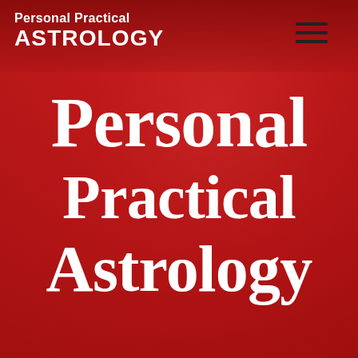Personal Practical ASTROLOGY
Personal Practical Astrology